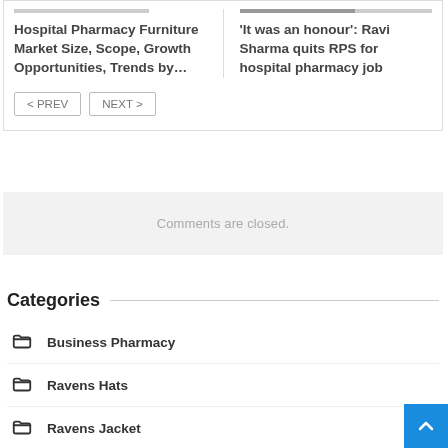Hospital Pharmacy Furniture Market Size, Scope, Growth Opportunities, Trends by…
'It was an honour': Ravi Sharma quits RPS for hospital pharmacy job
< PREV  NEXT >
Comments are closed.
Categories
Business Pharmacy
Ravens Hats
Ravens Jacket